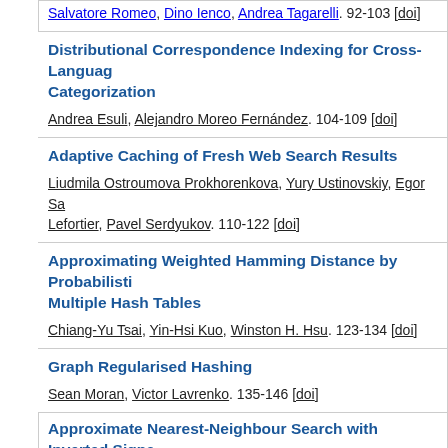Salvatore Romeo, Dino Ienco, Andrea Tagarelli. 92-103 [doi]
Distributional Correspondence Indexing for Cross-Language Categorization. Andrea Esuli, Alejandro Moreo Fernández. 104-109 [doi]
Adaptive Caching of Fresh Web Search Results. Liudmila Ostroumova Prokhorenkova, Yury Ustinovskiy, Egor Sa Lefortier, Pavel Serdyukov. 110-122 [doi]
Approximating Weighted Hamming Distance by Probabilistic Multiple Hash Tables. Chiang-Yu Tsai, Yin-Hsi Kuo, Winston H. Hsu. 123-134 [doi]
Graph Regularised Hashing. Sean Moran, Victor Lavrenko. 135-146 [doi]
Approximate Nearest-Neighbour Search with Inverted Signa…